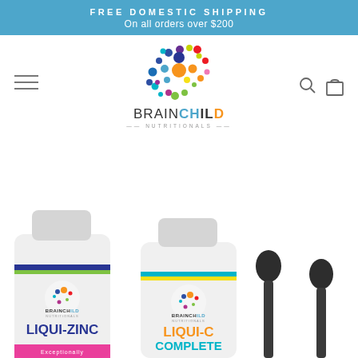FREE DOMESTIC SHIPPING
On all orders over $200
[Figure (logo): BrainChild Nutritionals logo with colorful dot cluster and text BRAINCHILD NUTRITIONALS]
[Figure (photo): Product photos: two BrainChild Nutritionals liquid supplement bottles (LIQUI-ZINC and LIQUI-C COMPLETE) and two dropper bottles]